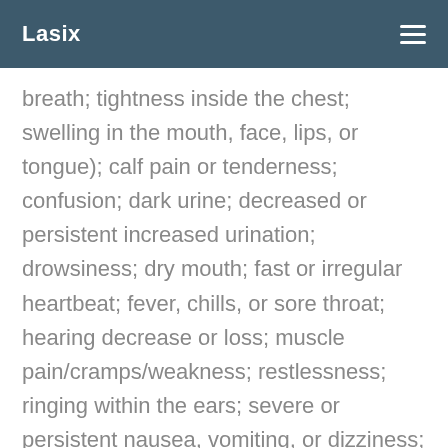Lasix
breath; tightness inside the chest; swelling in the mouth, face, lips, or tongue); calf pain or tenderness; confusion; dark urine; decreased or persistent increased urination; drowsiness; dry mouth; fast or irregular heartbeat; fever, chills, or sore throat; hearing decrease or loss; muscle pain/cramps/weakness; restlessness; ringing within the ears; severe or persistent nausea, vomiting, or dizziness; lack of breath; sluggishness; stomach pain; unusual